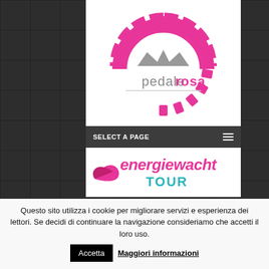[Figure (logo): Pedale Rosa logo — pink gear/cog semicircle with gray crown shape, text 'pedale rosa' in gray and pink]
SELECT A PAGE
[Figure (logo): Energiewacht Tour logo — pink bird/ribbon, teal/pink text 'energiewacht TOUR']
Questo sito utilizza i cookie per migliorare servizi e esperienza dei lettori. Se decidi di continuare la navigazione consideriamo che accetti il loro uso.
Accetta
Maggiori informazioni